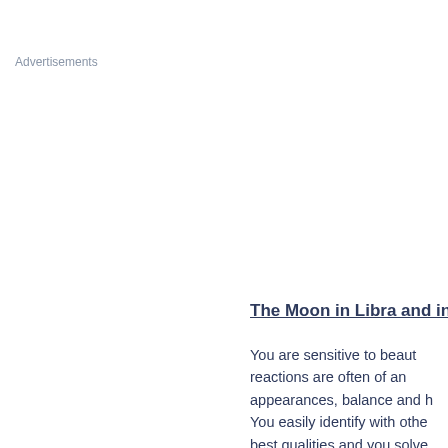Advertisements
The Moon in Libra and in
You are sensitive to beaut reactions are often of an appearances, balance and h You easily identify with othe best qualities and you solve